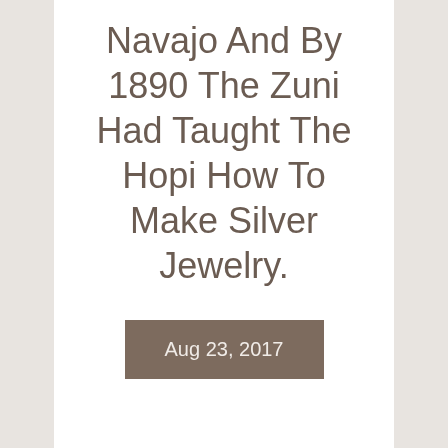Navajo And By 1890 The Zuni Had Taught The Hopi How To Make Silver Jewelry.
Aug 23, 2017